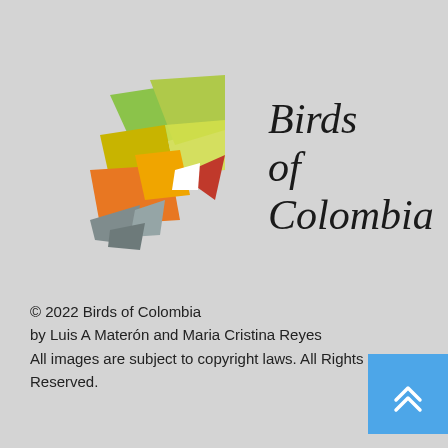[Figure (logo): Birds of Colombia logo: a geometric hummingbird made of colored polygons (yellow-green, olive, orange, red, white, gray) beside italic serif text reading 'Birds of Colombia']
© 2022 Birds of Colombia
by Luis A Materón and Maria Cristina Reyes
All images are subject to copyright laws. All Rights Reserved.
[Figure (other): Blue square button with white double chevron/arrow pointing upward (scroll-to-top button)]